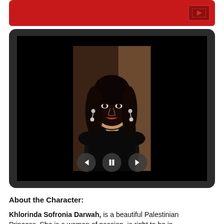[Figure (screenshot): Red banner strip at the top of a web/app page with a small icon on the right side]
[Figure (photo): A tablet-style frame showing a photo of a beautiful dark-haired woman wearing a black dress with media playback controls (back, pause, forward) overlaid at the bottom of the photo]
About the Character:
Khlorinda Sofronia Darwah, is a beautiful Palestinian Princess. She is a woman of passion, is right to be in...